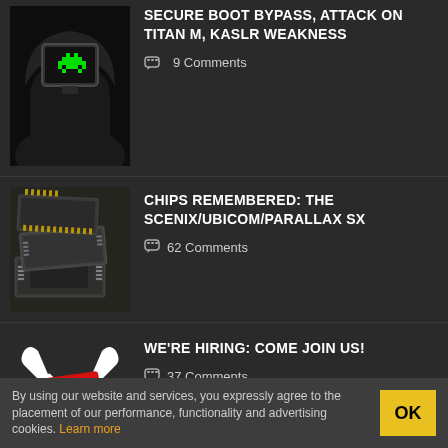SECURE BOOT BYPASS, ATTACK ON TITAN M, KASLR WEAKNESS
9 Comments
[Figure (illustration): Hooded hacker figure with TV/monitor head showing green alien/space invader graphic]
CHIPS REMEMBERED: THE SCENIX/UBICOM/PARALLAX SX
62 Comments
[Figure (photo): Close-up photo of vintage microchips/IC chips]
WE'RE HIRING: COME JOIN US!
37 Comments
[Figure (illustration): Help Wanted sign illustration with wrench icons]
By using our website and services, you expressly agree to the placement of our performance, functionality and advertising cookies. Learn more